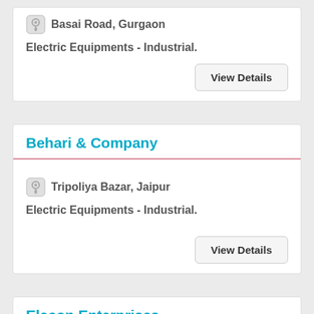Basai Road, Gurgaon
Electric Equipments - Industrial.
View Details
Behari & Company
Tripoliya Bazar, Jaipur
Electric Equipments - Industrial.
View Details
Elecon Enterprises